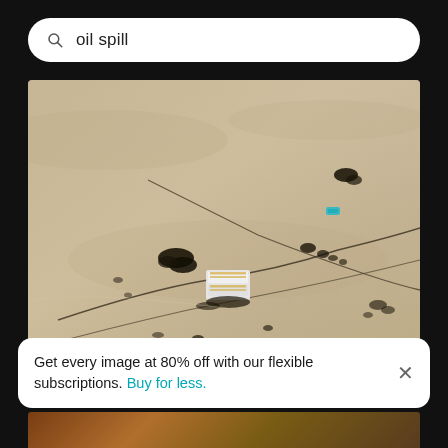oil spill
[Figure (photo): Aerial drone photograph of a desert/mudflat landscape showing oil spill contamination. Dark black oil streaks and patches are visible across a pale sandy/muddy terrain. In the center of the image sits a cluster of white industrial containers or equipment. Dark pipeline traces and oil deposits radiate outward across the flat landscape.]
Get every image at 80% off with our flexible subscriptions. Buy for less.